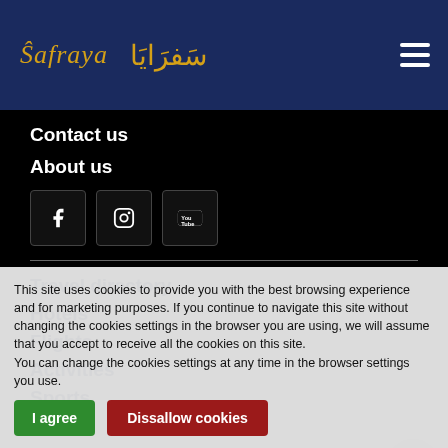Safraya سَفرَايَا
Contact us
About us
[Figure (infographic): Social media icons: Facebook, Instagram, YouTube]
Travel directory
Hotels
Flights
This site uses cookies to provide you with the best browsing experience and for marketing purposes. If you continue to navigate this site without changing the cookies settings in the browser you are using, we will assume that you accept to receive all the cookies on this site.
You can change the cookies settings at any time in the browser settings you use.
Activities
Sports
I agree | Dissallow cookies